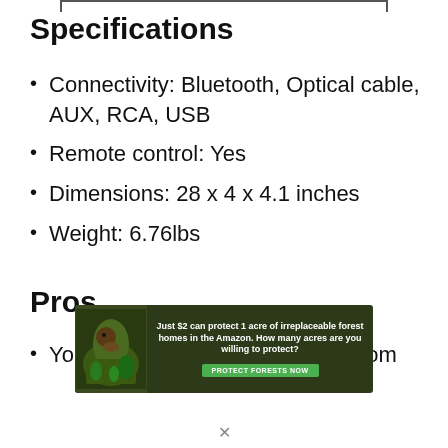Specifications
Connectivity: Bluetooth, Optical cable, AUX, RCA, USB
Remote control: Yes
Dimensions: 28 x 4 x 4.1 inches
Weight: 6.76lbs
Pros
You get a great bass response from
[Figure (photo): Advertisement banner with rainforest background and a bird/animal image. Text reads: 'Just $2 can protect 1 acre of irreplaceable forest homes in the Amazon. How many acres are you willing to protect?' with a green 'PROTECT FORESTS NOW' button.]